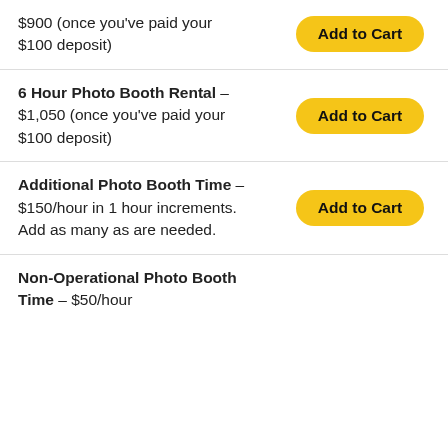$900 (once you've paid your $100 deposit)
6 Hour Photo Booth Rental – $1,050 (once you've paid your $100 deposit)
Additional Photo Booth Time – $150/hour in 1 hour increments. Add as many as are needed.
Non-Operational Photo Booth Time – $50/hour